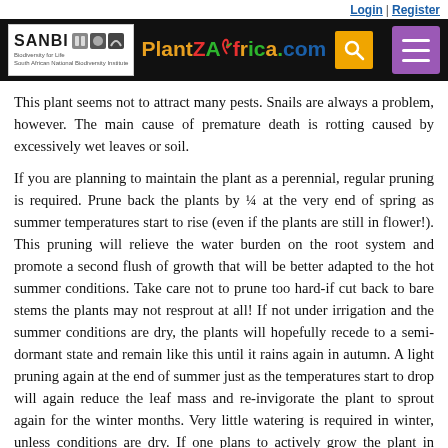Login | Register
[Figure (logo): PlantZAfrica.com website header with SANBI logo, PlantZAfrica colorful logo, search icon, and purple hamburger menu button on black background]
This plant seems not to attract many pests. Snails are always a problem, however. The main cause of premature death is rotting caused by excessively wet leaves or soil.
If you are planning to maintain the plant as a perennial, regular pruning is required. Prune back the plants by ¼ at the very end of spring as summer temperatures start to rise (even if the plants are still in flower!). This pruning will relieve the water burden on the root system and promote a second flush of growth that will be better adapted to the hot summer conditions. Take care not to prune too hard-if cut back to bare stems the plants may not resprout at all! If not under irrigation and the summer conditions are dry, the plants will hopefully recede to a semi-dormant state and remain like this until it rains again in autumn. A light pruning again at the end of summer just as the temperatures start to drop will again reduce the leaf mass and re-invigorate the plant to sprout again for the winter months. Very little watering is required in winter, unless conditions are dry. If one plans to actively grow the plant in summer, dripper irrigation is recommended as this will keep the leaves dry and